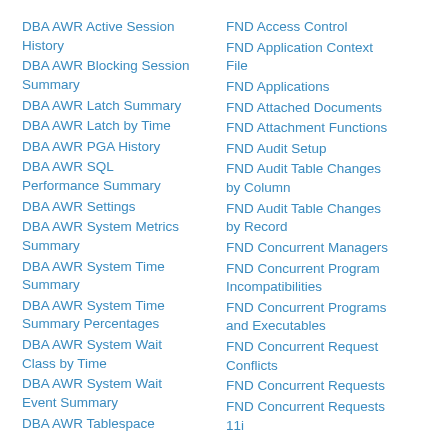DBA AWR Active Session History
DBA AWR Blocking Session Summary
DBA AWR Latch Summary
DBA AWR Latch by Time
DBA AWR PGA History
DBA AWR SQL Performance Summary
DBA AWR Settings
DBA AWR System Metrics Summary
DBA AWR System Time Summary
DBA AWR System Time Summary Percentages
DBA AWR System Wait Class by Time
DBA AWR System Wait Event Summary
DBA AWR Tablespace
FND Access Control
FND Application Context File
FND Applications
FND Attached Documents
FND Attachment Functions
FND Audit Setup
FND Audit Table Changes by Column
FND Audit Table Changes by Record
FND Concurrent Managers
FND Concurrent Program Incompatibilities
FND Concurrent Programs and Executables
FND Concurrent Request Conflicts
FND Concurrent Requests
FND Concurrent Requests 11i